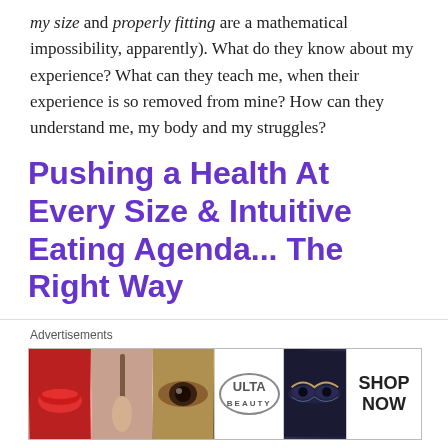my size and properly fitting are a mathematical impossibility, apparently). What do they know about my experience? What can they teach me, when their experience is so removed from mine? How can they understand me, my body and my struggles?
Pushing a Health At Every Size & Intuitive Eating Agenda... The Right Way
I’m not saying these women have nothing of value to say. They do! I have read plenty of their blogs and their books and I support what they do. But in order
[Figure (other): Advertisement banner showing Ulta Beauty cosmetics ad with images of lips, makeup brush, eye, Ulta logo, eye makeup, and SHOP NOW button]
Advertisements